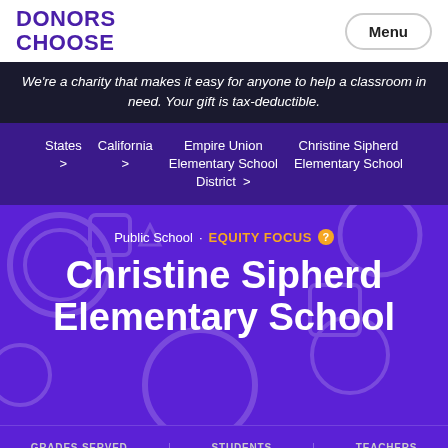DONORS CHOOSE
We're a charity that makes it easy for anyone to help a classroom in need. Your gift is tax-deductible.
States > California > Empire Union Elementary School District > Christine Sipherd Elementary School
Christine Sipherd Elementary School
Public School · EQUITY FOCUS
GRADES SERVED K – 6
STUDENTS 449
TEACHERS 20